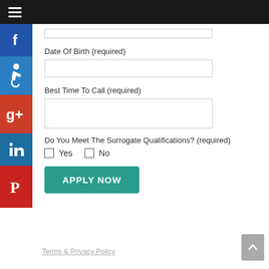Navigation bar with hamburger menu
[Figure (other): Social media sidebar with Facebook, Accessibility, Google+, LinkedIn, and Pinterest icons]
Date Of Birth (required)
Best Time To Call (required)
Do You Meet The Surrogate Qualifications? (required)
Yes
No
APPLY NOW
Terms & Privacy Policy